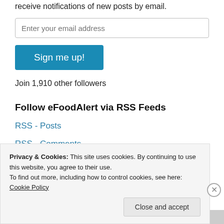receive notifications of new posts by email.
Enter your email address
Sign me up!
Join 1,910 other followers
Follow eFoodAlert via RSS Feeds
RSS - Posts
RSS - Comments
Privacy & Cookies: This site uses cookies. By continuing to use this website, you agree to their use.
To find out more, including how to control cookies, see here: Cookie Policy
Close and accept